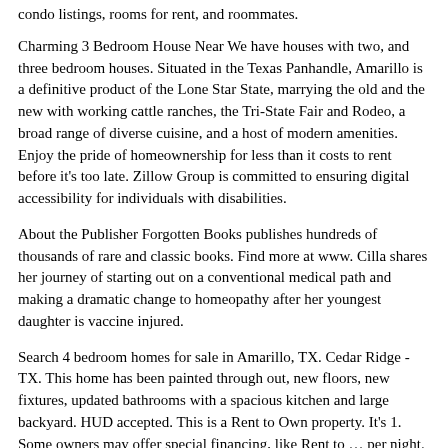condo listings, rooms for rent, and roommates.
Charming 3 Bedroom House Near We have houses with two, and three bedroom houses. Situated in the Texas Panhandle, Amarillo is a definitive product of the Lone Star State, marrying the old and the new with working cattle ranches, the Tri-State Fair and Rodeo, a broad range of diverse cuisine, and a host of modern amenities. Enjoy the pride of homeownership for less than it costs to rent before it's too late. Zillow Group is committed to ensuring digital accessibility for individuals with disabilities.
About the Publisher Forgotten Books publishes hundreds of thousands of rare and classic books. Find more at www. Cilla shares her journey of starting out on a conventional medical path and making a dramatic change to homeopathy after her youngest daughter is vaccine injured.
Search 4 bedroom homes for sale in Amarillo, TX. Cedar Ridge - TX. This home has been painted through out, new floors, new fixtures, updated bathrooms with a spacious kitchen and large backyard. HUD accepted. This is a Rent to Own property. It's 1. Some owners may offer special financing, like Rent to … per night. Great Deals on 2 and 3 Bedroom mobile homesPleasant Valley Estates is offering 2 and 3 bedroom homes in a safe and serene community. Amarillo is a terrific choice for your new apartment.